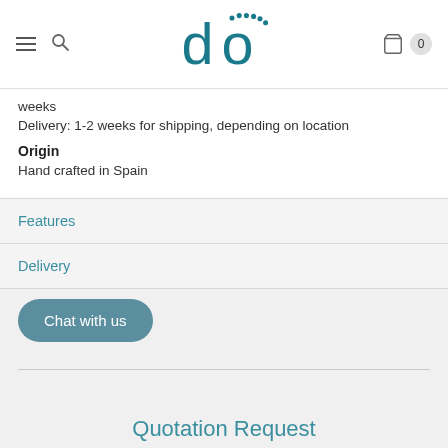do (logo)
weeks
Delivery: 1-2 weeks for shipping, depending on location
Origin
Hand crafted in Spain
Features
Delivery
Chat with us
Quotation Request